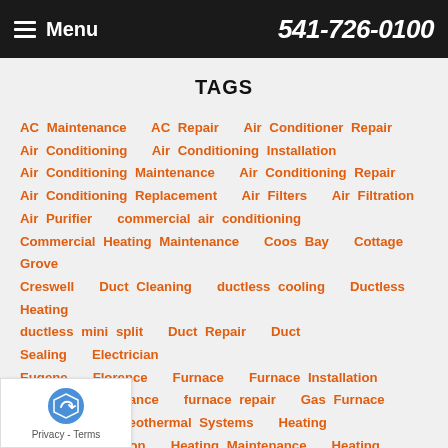Menu  541-726-0100
TAGS
AC Maintenance   AC Repair   Air Conditioner Repair   Air Conditioning   Air Conditioning Installation   Air Conditioning Maintenance   Air Conditioning Repair   Air Conditioning Replacement   Air Filters   Air Filtration   Air Purifier   commercial air conditioning   Commercial Heating Maintenance   Coos Bay   Cottage Grove   Creswell   Duct Cleaning   ductless cooling   Ductless Heating   ductless mini split   Duct Repair   Duct Sealing   Electrician   Eugene   Florence   Furnace   Furnace Installation   Furnace Maintenance   furnace repair   Gas Furnace   Geothermal   Geothermal Systems   Heating   Heating Installation   Heating Maintenance   Heating Repair   Heating System Maintenance   Heating System Repair   Heat Pumps   Indoor Air Quality   Junction City   Radiant Heating   Salem   Springfield   Thermostats